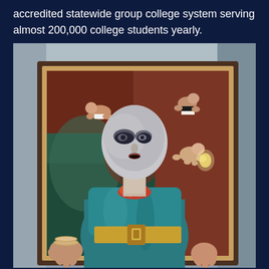accredited statewide group college system serving almost 200,000 college students yearly.
[Figure (photo): A large doll or mannequin figure with a bald, painted face wearing a teal/blue dress with a gold belt, positioned in front of a framed painting that has smaller baby dolls attached to it. Hands with bracelets are visible holding the figure from the sides.]